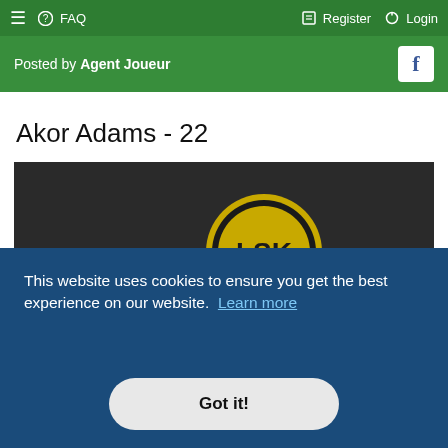≡ ? FAQ   Register  Login
Posted by Agent Joueur
Akor Adams - 22
[Figure (photo): Two men posing inside what appears to be LSK (Lillestrøm SK) club facilities. One man wears a yellow LSK jersey with DNB sponsor and Puma logo, the other wears a black hoodie. Background shows LSK branding including a large circular yellow and black logo and text 'OPPDRAG BLI ROMERIKES STOLTHET' and 'VI SKA... NO...']
This website uses cookies to ensure you get the best experience on our website. Learn more
Got it!